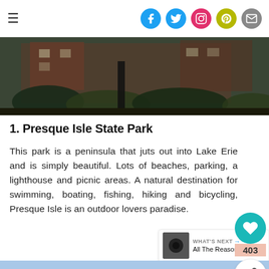≡ [social icons: Facebook, Twitter, Instagram, Pinterest, Email]
[Figure (photo): Partial view of a brick building with trees and shrubs in foreground, dark outdoor scene]
1. Presque Isle State Park
This park is a peninsula that juts out into Lake Erie and is simply beautiful. Lots of beaches, parking, a lighthouse and picnic areas. A natural destination for swimming, boating, fishing, hiking and bicycling, Presque Isle is an outdoor lovers paradise.